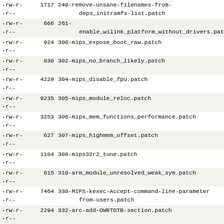-rw-r--r--  1717 240-remove-unsane-filenames-from-deps_initramfs-list.patch
-rw-r--r--   666 261-enable_wilink_platform_without_drivers.patch
-rw-r--r--   924 300-mips_expose_boot_raw.patch
-rw-r--r--   830 302-mips_no_branch_likely.patch
-rw-r--r--  4228 304-mips_disable_fpu.patch
-rw-r--r--  9235 305-mips_module_reloc.patch
-rw-r--r--  3253 306-mips_mem_functions_performance.patch
-rw-r--r--   627 307-mips_highmem_offset.patch
-rw-r--r--  1104 308-mips32r2_tune.patch
-rw-r--r--   615 310-arm_module_unresolved_weak_sym.patch
-rw-r--r--  7464 330-MIPS-kexec-Accept-command-line-parameters-from-users.patch
-rw-r--r--  2294 332-arc-add-OWRTDTB-section.patch
-rw-r--   825 333-arc-enable-unaligned-access-in-kernel